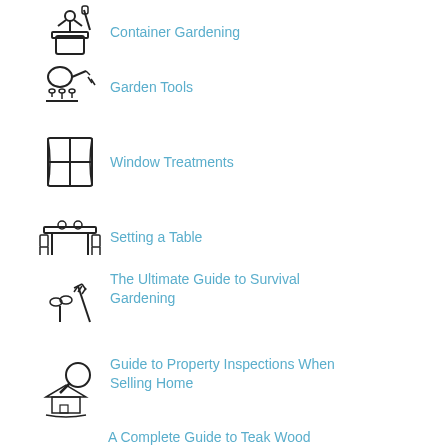Container Gardening
Garden Tools
Window Treatments
Setting a Table
The Ultimate Guide to Survival Gardening
Guide to Property Inspections When Selling Home
A Complete Guide to Teak Wood